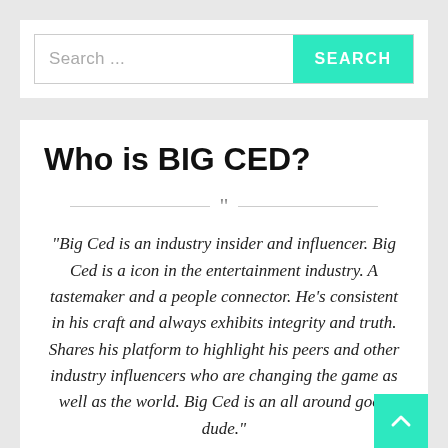[Figure (screenshot): Search bar with text input area showing 'Search ...' placeholder and a teal/green SEARCH button on the right]
Who is BIG CED?
“Big Ced is an industry insider and influencer. Big Ced is a icon in the entertainment industry. A tastemaker and a people connector. He’s consistent in his craft and always exhibits integrity and truth. Shares his platform to highlight his peers and other industry influencers who are changing the game as well as the world. Big Ced is an all around good dude.”